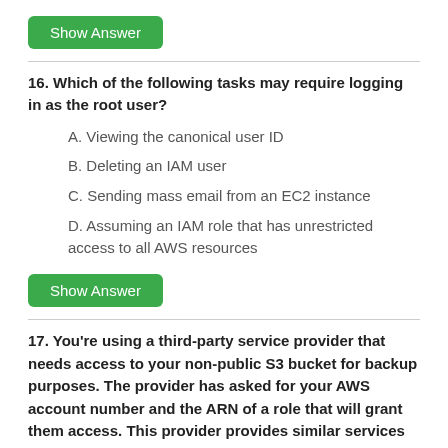[Figure (other): Green 'Show Answer' button]
16. Which of the following tasks may require logging in as the root user?
A. Viewing the canonical user ID
B. Deleting an IAM user
C. Sending mass email from an EC2 instance
D. Assuming an IAM role that has unrestricted access to all AWS resources
[Figure (other): Green 'Show Answer' button]
17. You're using a third-party service provider that needs access to your non-public S3 bucket for backup purposes. The provider has asked for your AWS account number and the ARN of a role that will grant them access. This provider provides similar services for other AWS customers. For security, the provider has given you an external ID of 86730.